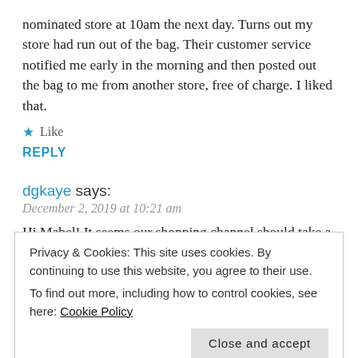nominated store at 10am the next day. Turns out my store had run out of the bag. Their customer service notified me early in the morning and then posted out the bag to me from another store, free of charge. I liked that.
★ Like
REPLY
dgkaye says:
December 2, 2019 at 10:21 am
Hi Mabel! It seems our shopping channel should take a page from how Australia handles online orders! Thanks for visiting and leaving your thoughts here. ❤️
Privacy & Cookies: This site uses cookies. By continuing to use this website, you agree to their use.
To find out more, including how to control cookies, see here: Cookie Policy
Close and accept
I'm pleased to hear you were treated well, Mabel. Not all